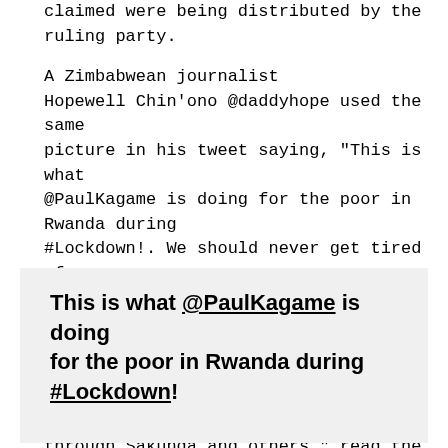claimed were being distributed by the ruling party.
A Zimbabwean journalist Hopewell Chin'ono @daddyhope used the same picture in his tweet saying, “This is what @PaulKagame is doing for the poor in Rwanda during #Lockdown!. We should never get tired of reminding Zanupf, Mnangagwa, his enablers, ghost accounts and supporters that ED is failing to do this because ZANUPF loots state money through Sakunda and others,” read the tweet.
[Figure (screenshot): Tweet screenshot showing bold text: This is what @PaulKagame is doing for the poor in Rwanda during #Lockdown!]